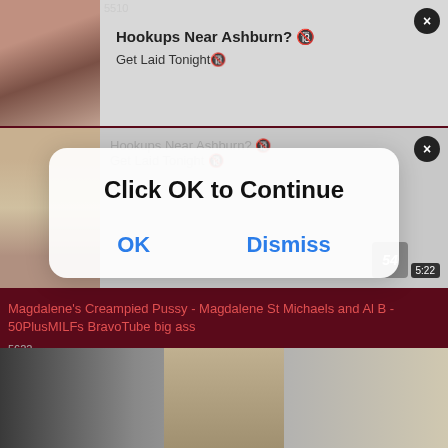5510
[Figure (screenshot): Ad banner with image on left and text 'Hookups Near Ashburn? Get Laid Tonight' on right with close X button]
[Figure (screenshot): Second ad banner with partially visible adult content image and faded ad text, with close X button]
[Figure (screenshot): Modal dialog overlay with text 'Click OK to Continue' and OK / Dismiss buttons]
Magdalene's Creampied Pussy - Magdalene St Michaels and Al B - 50PlusMILFs BravoTube big ass
5622
[Figure (screenshot): Bottom thumbnail strip showing adult video content with woman in black dress in center]